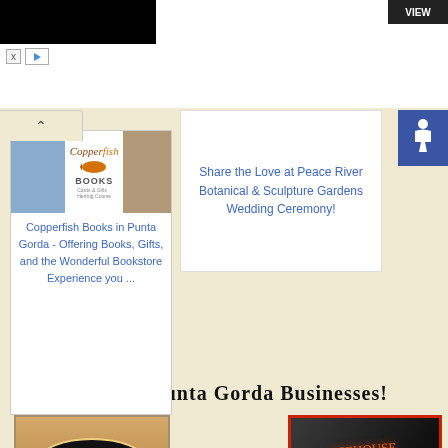[Figure (screenshot): Top navigation bar with black advertisement box and VIEW button]
Share the Love at Peace River Botanical & Sculpture Gardens Wedding Ceremony!
[Figure (logo): Accessibility icon - white wheelchair symbol on blue background]
[Figure (photo): Copperfish Books advertisement with bookstore imagery]
Copperfish Books in Punta Gorda - Offering Books, Gifts, and the Wonderful Bookstore Experience you ...
Featured Punta Gorda Businesses!
[Figure (logo): Carmelo's Italian Ristorante logo with oval emblem, tagline Authentic Italian, phone 941 621-4091]
[Figure (photo): Icehouse Pub sign photo with red and orange neon lighting]